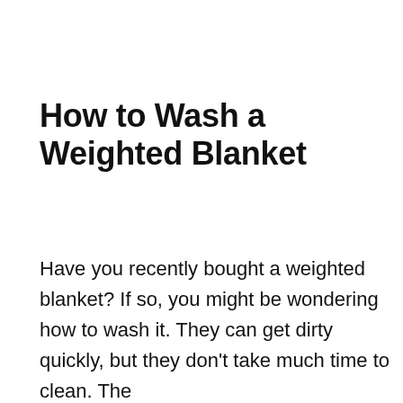How to Wash a Weighted Blanket
Have you recently bought a weighted blanket? If so, you might be wondering how to wash it. They can get dirty quickly, but they don't take much time to clean. The